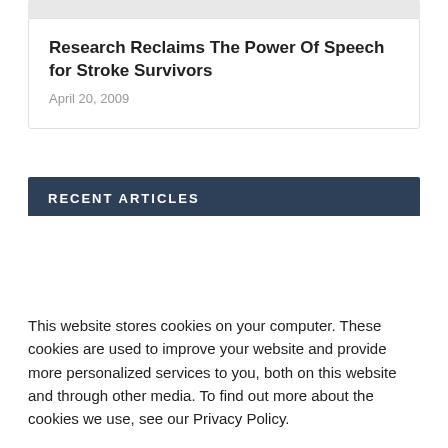Research Reclaims The Power Of Speech for Stroke Survivors
April 20, 2009
RECENT ARTICLES
This website stores cookies on your computer. These cookies are used to improve your website and provide more personalized services to you, both on this website and through other media. To find out more about the cookies we use, see our Privacy Policy.
Accept